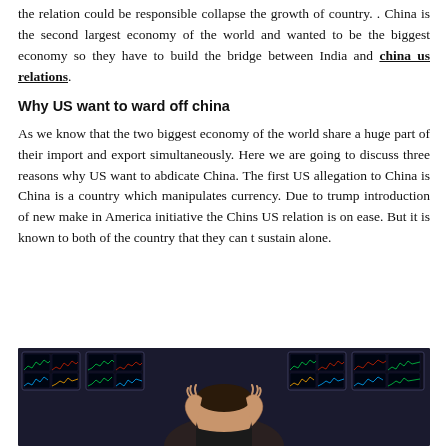the relation could be responsible collapse the growth of country. . China is the second largest economy of the world and wanted to be the biggest economy so they have to build the bridge between India and china us relations.
Why US want to ward off china
As we know that the two biggest economy of the world share a huge part of their import and export simultaneously. Here we are going to discuss three reasons why US want to abdicate China. The first US allegation to China is China is a country which manipulates currency. Due to trump introduction of new make in America initiative the Chins US relation is on ease. But it is known to both of the country that they can t sustain alone.
[Figure (photo): A person with hands on head in frustration sitting in front of multiple trading/stock market monitor screens showing charts and graphs]